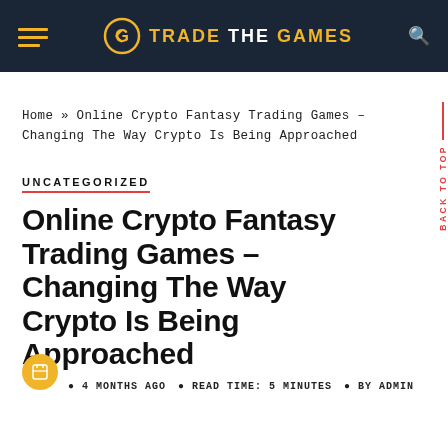TRADE THE GAMES
Home » Online Crypto Fantasy Trading Games – Changing The Way Crypto Is Being Approached
UNCATEGORIZED
Online Crypto Fantasy Trading Games – Changing The Way Crypto Is Being Approached
4 MONTHS AGO   READ TIME: 5 MINUTES   BY ADMIN